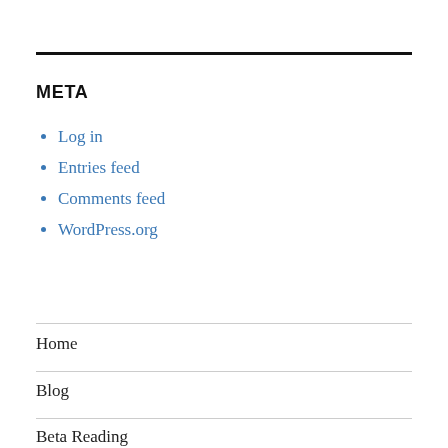META
Log in
Entries feed
Comments feed
WordPress.org
Home
Blog
Beta Reading